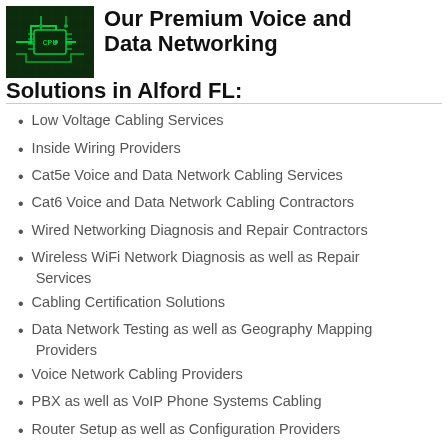[Figure (logo): Green circuit board logo image]
Our Premium Voice and Data Networking Solutions in Alford FL:
Low Voltage Cabling Services
Inside Wiring Providers
Cat5e Voice and Data Network Cabling Services
Cat6 Voice and Data Network Cabling Contractors
Wired Networking Diagnosis and Repair Contractors
Wireless WiFi Network Diagnosis as well as Repair Services
Cabling Certification Solutions
Data Network Testing as well as Geography Mapping Providers
Voice Network Cabling Providers
PBX as well as VoIP Phone Systems Cabling
Router Setup as well as Configuration Providers
Data Rack as well as Network Equipment Setup